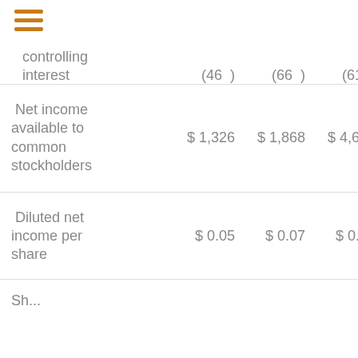|  | Col1 | Col2 | Col3 | Col4 |
| --- | --- | --- | --- | --- |
| controlling interest | (46) | (66) | (61) | (7... |
| Net income available to common stockholders | $ 1,326 | $ 1,868 | $ 4,638 | $ 4,... |
| Diluted net income per share | $ 0.05 | $ 0.07 | $ 0.17 | $ 0.1... |